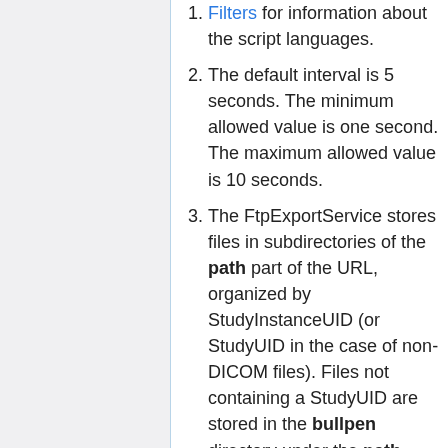Filters for information about the script languages.
The default interval is 5 seconds. The minimum allowed value is one second. The maximum allowed value is 10 seconds.
The FtpExportService stores files in subdirectories of the path part of the URL, organized by StudyInstanceUID (or StudyUID in the case of non-DICOM files). Files not containing a StudyUID are stored in the bullpen directory under the path directory.
If the directory specified by the path does not exist, it is created.
Files are stored within their directories with names that consist of the date and time (to